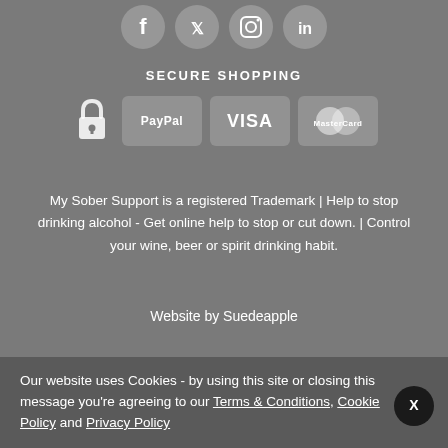[Figure (illustration): Social media icons row: Facebook, Twitter, Instagram, LinkedIn — white circular icons on grey background]
SECURE SHOPPING
[Figure (illustration): Payment method icons: padlock icon, PayPal badge, VISA badge, MasterCard badge — white/grey rounded rectangles]
My Sober Support is a registered Trademark | Help to stop drinking alcohol - Get online help to stop or cut down. | Control your wine, beer or spirit drinking habit.
Website by Suedeapple
© 2022 | All content and images My Sober Support
Our website uses Cookies - by using this site or closing this message you're agreeing to our Terms & Conditions, Cookie Policy and Privacy Policy